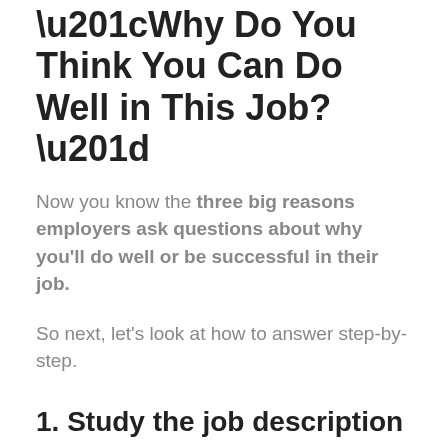“Why Do You Think You Can Do Well in This Job?”
Now you know the three big reasons employers ask questions about why you’ll do well or be successful in their job.
So next, let’s look at how to answer step-by-step.
1. Study the job description